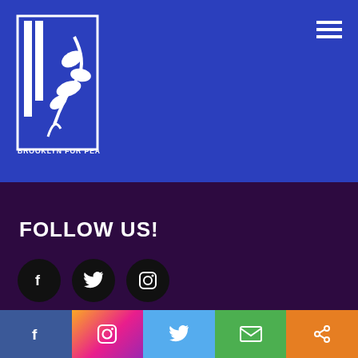[Figure (logo): Brooklyn for Peace logo — white illustration of a figure with leaves/branches on blue background]
BROOKLYN FOR PEACE
FOLLOW US!
[Figure (infographic): Three black circular social media icons: Facebook (f), Twitter (bird), Instagram (camera)]
Search ...
[Figure (infographic): Bottom navigation bar with five colored sections: Facebook (blue), Instagram (gradient), Twitter (light blue), Email (green), Share (orange)]